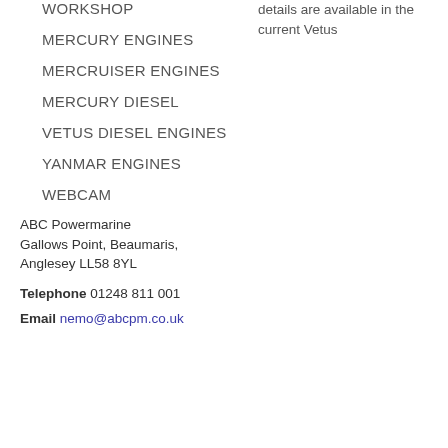WORKSHOP
MERCURY ENGINES
MERCRUISER ENGINES
MERCURY DIESEL
VETUS DIESEL ENGINES
YANMAR ENGINES
WEBCAM
details are available in the current Vetus
ABC Powermarine
Gallows Point, Beaumaris,
Anglesey LL58 8YL
Telephone 01248 811 001
Email nemo@abcpm.co.uk